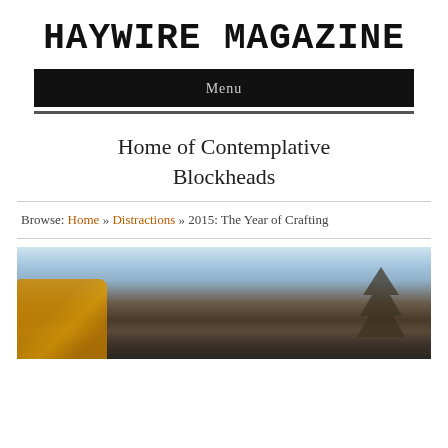HAYWIRE MAGAZINE
Home of Contemplative Blockheads
Browse: Home » Distractions » 2015: The Year of Crafting
[Figure (photo): Outdoor post-apocalyptic scene showing a crashed or destroyed vehicle on the left in orange/yellow colors, bare trees on the right, and a bright overcast sky in the background.]